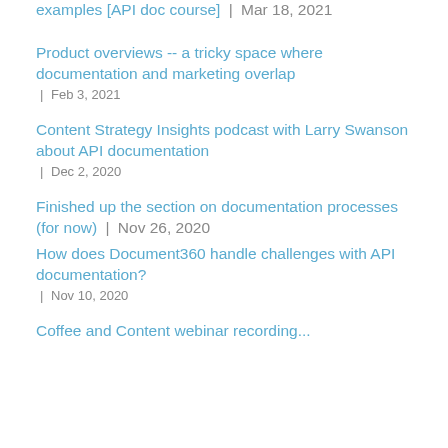examples [API doc course] | Mar 18, 2021
Product overviews -- a tricky space where documentation and marketing overlap | Feb 3, 2021
Content Strategy Insights podcast with Larry Swanson about API documentation | Dec 2, 2020
Finished up the section on documentation processes (for now) | Nov 26, 2020
How does Document360 handle challenges with API documentation? | Nov 10, 2020
Coffee and Content webinar recording...